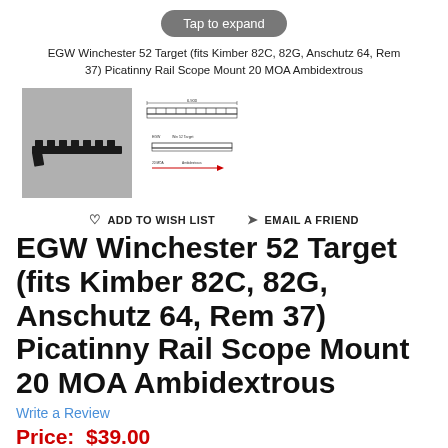[Figure (screenshot): Tap to expand button]
EGW Winchester 52 Target (fits Kimber 82C, 82G, Anschutz 64, Rem 37) Picatinny Rail Scope Mount 20 MOA Ambidextrous
[Figure (photo): Product image of a black Picatinny rail scope mount on gray background]
[Figure (engineering-diagram): Line diagram of the scope mount with dimensions and a red arrow]
♡ ADD TO WISH LIST   ✈ EMAIL A FRIEND
EGW Winchester 52 Target (fits Kimber 82C, 82G, Anschutz 64, Rem 37) Picatinny Rail Scope Mount 20 MOA Ambidextrous
Write a Review
Price: $39.00